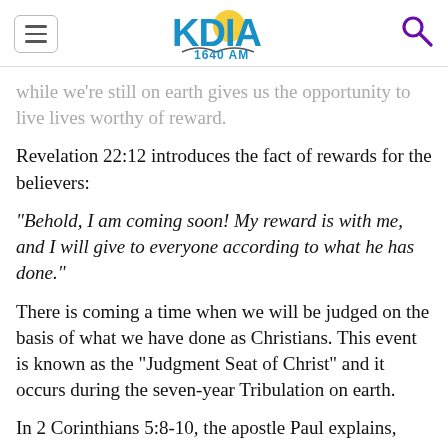KDIA 1640 AM
while we're still on earth gives us the opportunity to live lives worthy of reward.
Revelation 22:12 introduces the fact of rewards for the believers:
“Behold, I am coming soon! My reward is with me, and I will give to everyone according to what he has done.”
There is coming a time when we will be judged on the basis of what we have done as Christians. This event is known as the “Judgment Seat of Christ” and it occurs during the seven-year Tribulation on earth.
In 2 Corinthians 5:8-10, the apostle Paul explains,
“So we make it our goal to please him, whether we are at home in the body or away from it. For we must all appear